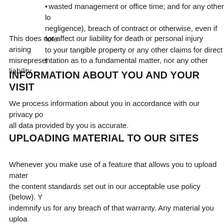•wasted management or office time; and for any other loss of income or revenue, loss of profits or contracts, loss of anticipated savings, loss of data, loss of goodwill, wasted management or office time; and for any other lo negligence), breach of contract or otherwise, even if fore to your tangible property or any other claims for direct f
This does not affect our liability for death or personal injury arising misrepresentation as to a fundamental matter, nor any other liability
INFORMATION ABOUT YOU AND YOUR VISIT
We process information about you in accordance with our privacy po all data provided by you is accurate.
UPLOADING MATERIAL TO OUR SITES
Whenever you make use of a feature that allows you to upload mater the content standards set out in our acceptable use policy (below). Y indemnify us for any breach of that warranty. Any material you uploa the right to use, copy, distribute and disclose to third parties any suc third party who is claiming that any material posted or uploaded by right to privacy. We will not be responsible, or liable to any third par our sites. We have the right to remove any material or posting you m standards set out in our acceptable use policy (ab